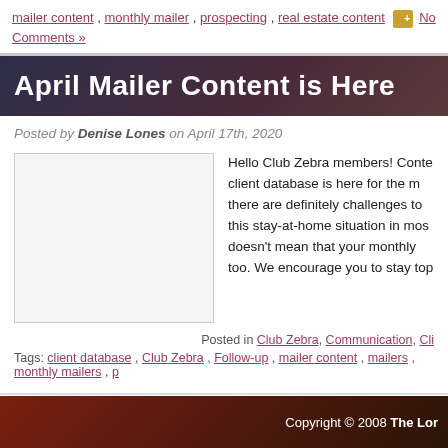mailer content, monthly mailer, prospecting, real estate content  No Comments »
April Mailer Content is Here
Posted by Denise Lones on April 17th, 2020
[Figure (photo): Placeholder image for April Mailer blog post]
Hello Club Zebra members! Content for your client database is here for the month! While there are definitely challenges to dealing with this stay-at-home situation in most areas, it doesn't mean that your monthly mailer should too. We encourage you to stay top...
Posted in Club Zebra, Communication, Cli...
Tags: client database, Club Zebra, Follow-up, mailer content, mailers, monthly mailers, p...
« Older Entries
Copyright © 2008 The Lor...